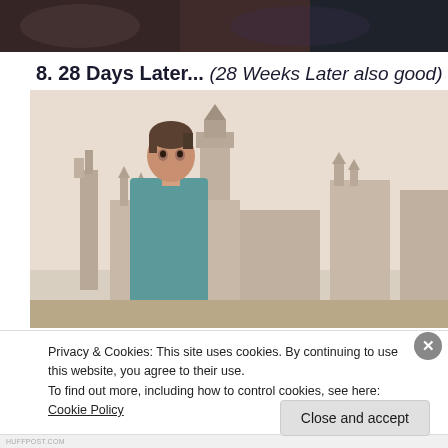[Figure (photo): Top partial image showing people, dark/shadowy scene cropped at top of page]
8. 28 Days Later... (28 Weeks Later also good)
[Figure (photo): Movie still from 28 Days Later showing a man in a teal hospital gown standing in front of the Houses of Parliament and Westminster in London under a pale sky]
Privacy & Cookies: This site uses cookies. By continuing to use this website, you agree to their use.
To find out more, including how to control cookies, see here: Cookie Policy
Close and accept